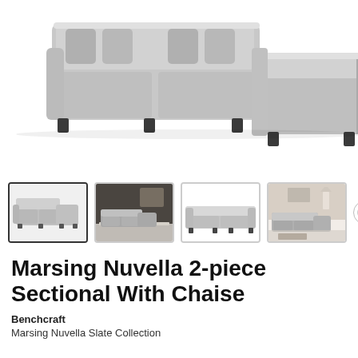[Figure (photo): Main product image of Marsing Nuvella 2-piece Sectional with Chaise in slate/gray upholstery, L-shaped sectional sofa with right-side chaise, dark wood legs, viewed from front-top angle on white background]
[Figure (photo): Thumbnail 1 (selected): Marsing Nuvella sectional sofa with left chaise, gray fabric, front angle]
[Figure (photo): Thumbnail 2: Marsing Nuvella sectional sofa in room setting with dark walls, gray rug]
[Figure (photo): Thumbnail 3: Marsing Nuvella sectional sofa side profile view on white background]
[Figure (photo): Thumbnail 4: Marsing Nuvella sectional sofa in bright room setting with lamp and coffee table]
Marsing Nuvella 2-piece Sectional With Chaise
Benchcraft
Marsing Nuvella Slate Collection